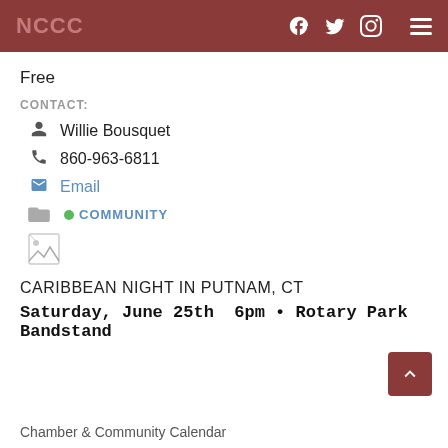NCCC
Free
CONTACT:
Willie Bousquet
860-963-6811
Email
COMMUNITY
[Figure (other): Broken image placeholder]
CARIBBEAN NIGHT IN PUTNAM, CT
Saturday, June 25th  6pm • Rotary Park  Bandstand
Chamber & Community Calendar